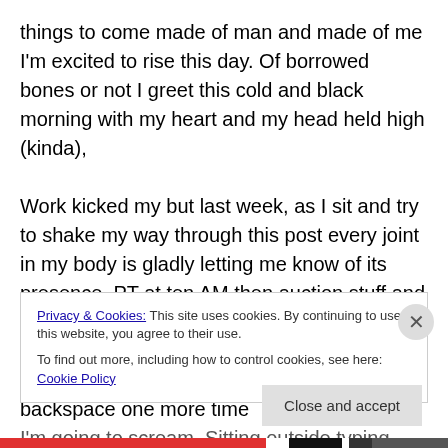things to come made of man and made of me I'm excited to rise this day. Of borrowed bones or not I greet this cold and black morning with my heart and my head held high (kinda),
Work kicked my but last week, as I sit and try to shake my way through this post every joint in my body is gladly letting me know of its presence. PT at ten AM then auction stuff and the rest of the day is mine. 2 days of working from home on secret stuff and paint like the madman I am. And I tell ya if I have to press backspace one more time I'm going to scream. Sitting outside typing with RD, not
Privacy & Cookies: This site uses cookies. By continuing to use this website, you agree to their use.
To find out more, including how to control cookies, see here: Cookie Policy